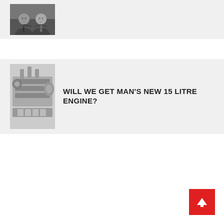[Figure (photo): Two men in suits, black and white photo]
[Figure (photo): MAN 15 litre engine, black and white product photo]
WILL WE GET MAN'S NEW 15 LITRE ENGINE?